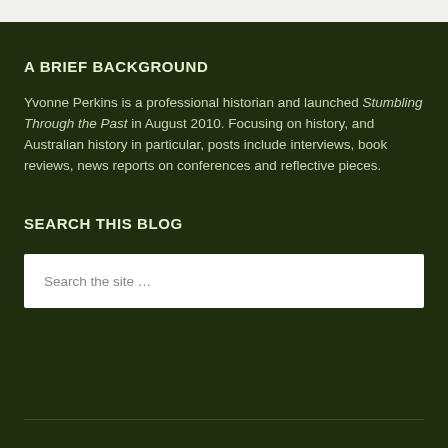A BRIEF BACKGROUND
Yvonne Perkins is a professional historian and launched Stumbling Through the Past in August 2010. Focusing on history, and Australian history in particular, posts include interviews, book reviews, news reports on conferences and reflective pieces.
SEARCH THIS BLOG
Search the site …